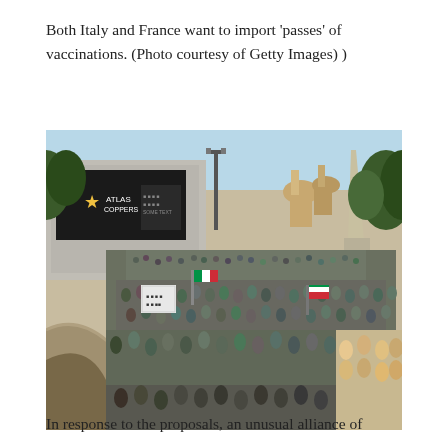Both Italy and France want to import 'passes' of vaccinations. (Photo courtesy of Getty Images) )
[Figure (photo): A large crowd gathered in what appears to be Piazza del Popolo in Rome, Italy. The crowd fills the piazza with flags and banners. In the background there is a large building with a billboard/advertisement on it, trees, an obelisk, and church domes. The photo is taken from an elevated viewpoint showing the sweeping curved ramp with red and white safety barriers.]
In response to the proposals, an unusual alliance of